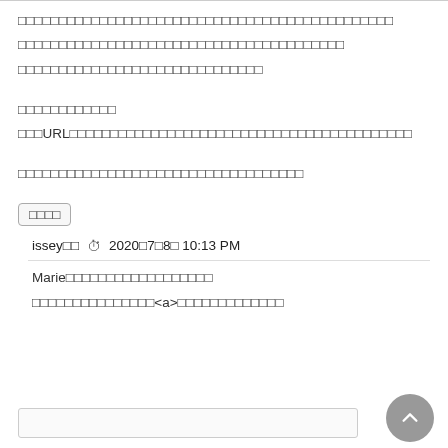□□□□□□□□□□□□□□□□□□□□□□□□□□□□□□□□□□□□□□□□□□□□□□
□□□□□□□□□□□□□□□□□□□□□□□□□□□□□□□□□□□□□□□□
□□□□□□□□□□□□□□□□□□□□□□□□□□□□□□
□□□□□□□□□□□□
□□□URL□□□□□□□□□□□□□□□□□□□□□□□□□□□□□□□□□□□□□□□□□□
□□□□□□□□□□□□□□□□□□□□□□□□□□□□□□□□□□□
□□□□
issey□□　　2020□7□8□ 10:13 PM
Marie□□□□□□□□□□□□□□□□□□
□□□□□□□□□□□□□□□<a>□□□□□□□□□□□□□